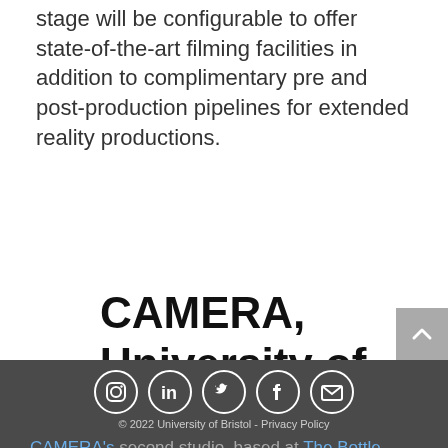stage will be configurable to offer state-of-the-art filming facilities in addition to complimentary pre and post-production pipelines for extended reality productions.
CAMERA, University of Bath
© 2022 University of Bristol - Privacy Policy
CAMERA's second studio, based at The Bottle Yard Studios in Bristol, offers state-of-the-art digital innovation facilities including a biot